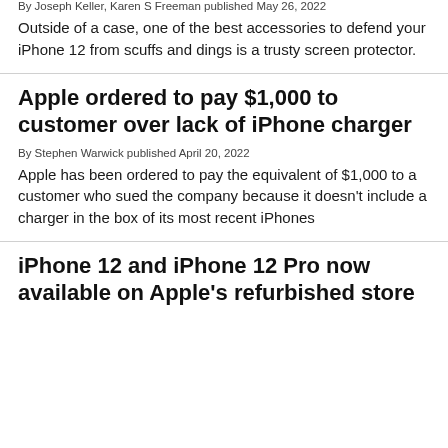By Joseph Keller, Karen S Freeman published May 26, 2022
Outside of a case, one of the best accessories to defend your iPhone 12 from scuffs and dings is a trusty screen protector.
Apple ordered to pay $1,000 to customer over lack of iPhone charger
By Stephen Warwick published April 20, 2022
Apple has been ordered to pay the equivalent of $1,000 to a customer who sued the company because it doesn't include a charger in the box of its most recent iPhones
iPhone 12 and iPhone 12 Pro now available on Apple's refurbished store